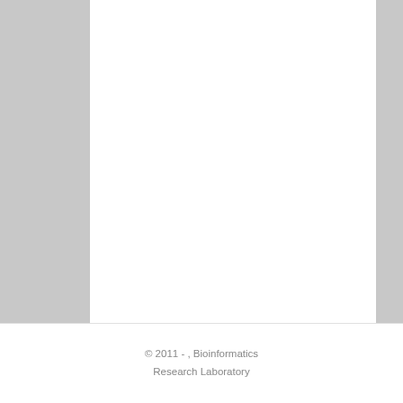assessment of protein intrinsic disorder prediction." Nature Methods 18, no. 5 (2021): 472-481. Google Scholar BibTex RTF Tagged XML RIS
© 2011 - , Bioinformatics Research Laboratory